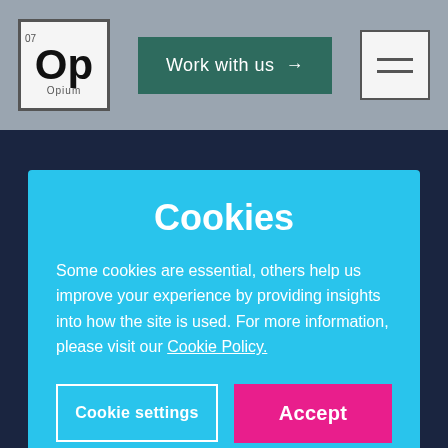[Figure (screenshot): Website header/navigation bar with a periodic-table style logo showing 'Op' (element 07), a teal 'Work with us →' button, and a hamburger menu icon on a grey background]
Cookies
Some cookies are essential, others help us improve your experience by providing insights into how the site is used. For more information, please visit our Cookie Policy.
Cookie settings
Accept
Product and Service Development
Stakeholder Understanding